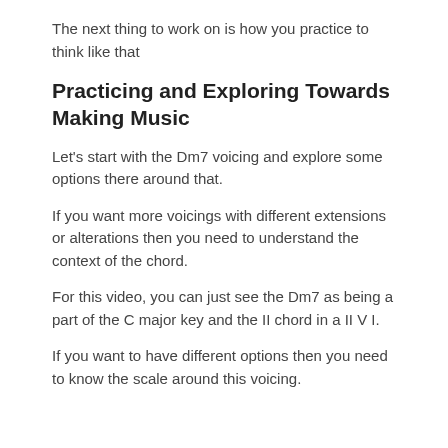The next thing to work on is how you practice to think like that
Practicing and Exploring Towards Making Music
Let's start with the Dm7 voicing and explore some options there around that.
If you want more voicings with different extensions or alterations then you need to understand the context of the chord.
For this video, you can just see the Dm7 as being a part of the C major key and the II chord in a II V I.
If you want to have different options then you need to know the scale around this voicing.